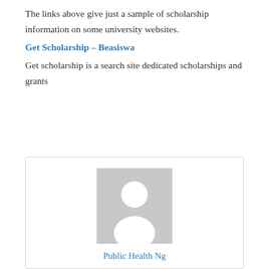The links above give just a sample of scholarship information on some university websites.
Get Scholarship – Beasiswa
Get scholarship is a search site dedicated scholarships and grants
[Figure (illustration): Generic user/person avatar placeholder image in grey, showing a silhouette of a person with a circle head and body shape]
Public Health Ng